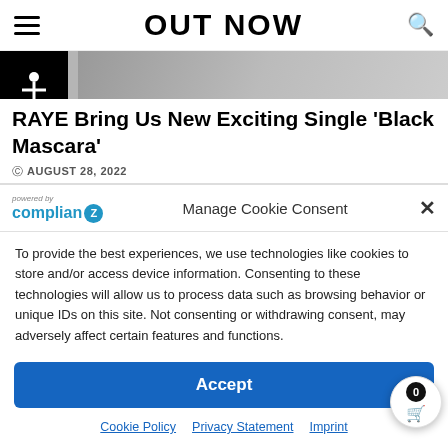OUT NOW
[Figure (photo): Partial photo of a person, cropped at top of page]
RAYE Bring Us New Exciting Single ‘Black Mascara’
AUGUST 28, 2022
Manage Cookie Consent
To provide the best experiences, we use technologies like cookies to store and/or access device information. Consenting to these technologies will allow us to process data such as browsing behavior or unique IDs on this site. Not consenting or withdrawing consent, may adversely affect certain features and functions.
Accept
Cookie Policy   Privacy Statement   Imprint